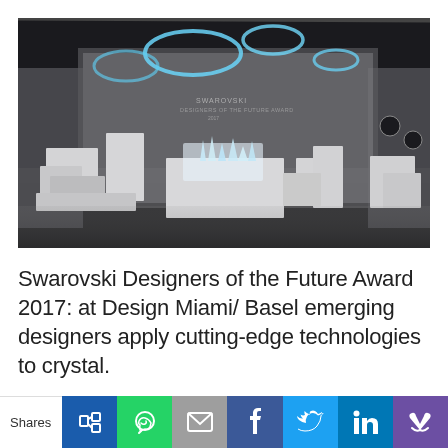[Figure (photo): Exhibition space for Swarovski Designers of the Future Award 2017 at Design Miami/Basel showing white geometric sculptural pedestals and display cases with crystal objects, glowing blue circular light rings hanging from the ceiling in a dark space]
Swarovski Designers of the Future Award 2017: at Design Miami/ Basel emerging designers apply cutting-edge technologies to crystal.
Shares | share buttons: link, whatsapp, email, facebook, twitter, linkedin, other